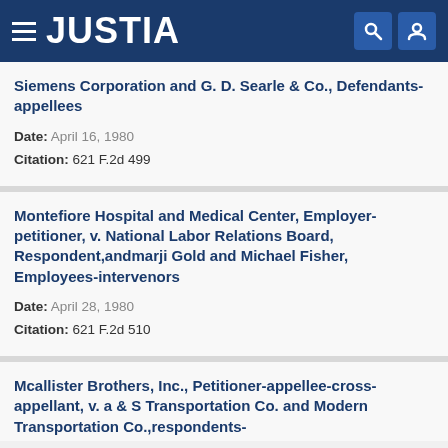JUSTIA
Siemens Corporation and G. D. Searle & Co., Defendants-appellees
Date: April 16, 1980
Citation: 621 F.2d 499
Montefiore Hospital and Medical Center, Employer-petitioner, v. National Labor Relations Board, Respondent,andmarji Gold and Michael Fisher, Employees-intervenors
Date: April 28, 1980
Citation: 621 F.2d 510
Mcallister Brothers, Inc., Petitioner-appellee-cross-appellant, v. a & S Transportation Co. and Modern Transportation Co.,respondents-